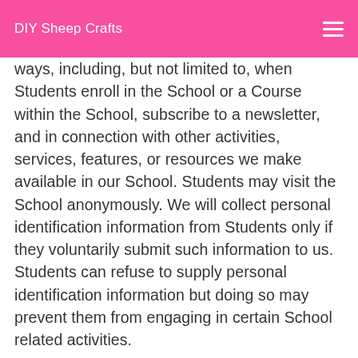DIY Sheep Crafts
ways, including, but not limited to, when Students enroll in the School or a Course within the School, subscribe to a newsletter, and in connection with other activities, services, features, or resources we make available in our School. Students may visit the School anonymously. We will collect personal identification information from Students only if they voluntarily submit such information to us. Students can refuse to supply personal identification information but doing so may prevent them from engaging in certain School related activities.